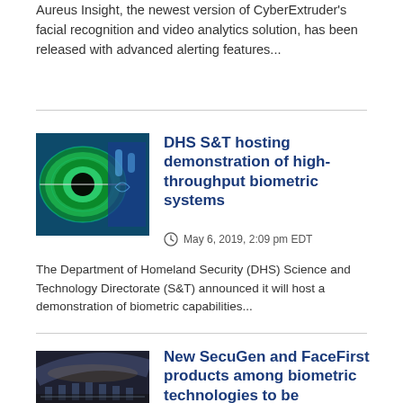Aureus Insight, the newest version of CyberExtruder's facial recognition and video analytics solution, has been released with advanced alerting features...
[Figure (photo): Close-up of a human eye overlaid with digital biometric fingerprint scan imagery on blue background]
DHS S&T hosting demonstration of high-throughput biometric systems
May 6, 2019, 2:09 pm EDT
The Department of Homeland Security (DHS) Science and Technology Directorate (S&T) announced it will host a demonstration of biometric capabilities...
[Figure (photo): Airport terminal hall with crowd of people and a large arched ceiling, convention or demonstration venue]
New SecuGen and FaceFirst products among biometric technologies to be demonstrated at ISC West